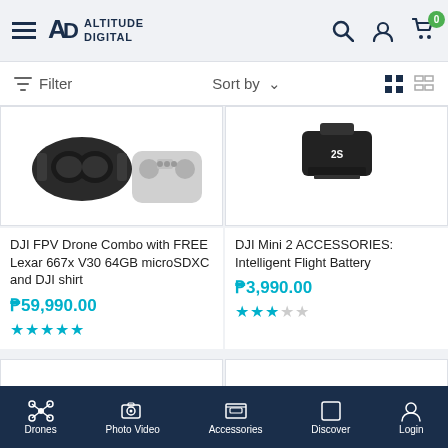Altitude Digital — navigation header with search, account, cart (0)
Filter   Sort by   (grid/list view toggle)
[Figure (photo): DJI FPV Drone goggles and controller product image]
DJI FPV Drone Combo with FREE Lexar 667x V30 64GB microSDXC and DJI shirt
₱59,990.00
★★★★★ (5 stars)
[Figure (photo): DJI Mini 2 Intelligent Flight Battery product image (partial top view)]
DJI Mini 2 ACCESSORIES: Intelligent Flight Battery
₱3,990.00
★★★☆☆ (3 stars)
[Figure (photo): STARTRC branded product card (partial view)]
[Figure (photo): DJI MINI 2 360° PROPELLER GUARD product card (partial view)]
Drones  Photo Video  Accessories  Discover  Login